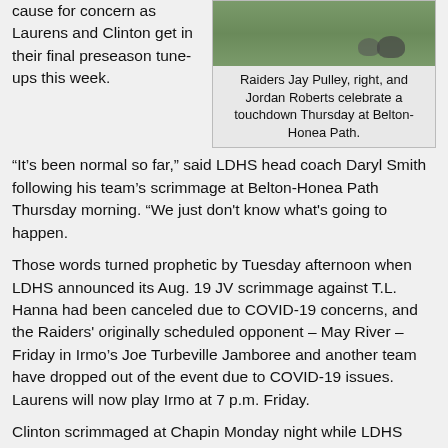cause for concern as Laurens and Clinton get in their final preseason tune-ups this week.
[Figure (photo): Two Raiders football players celebrating a touchdown on a grass field]
Raiders Jay Pulley, right, and Jordan Roberts celebrate a touchdown Thursday at Belton-Honea Path.
“It’s been normal so far,” said LDHS head coach Daryl Smith following his team’s scrimmage at Belton-Honea Path Thursday morning. “We just don’t know what’s going to happen.
Those words turned prophetic by Tuesday afternoon when LDHS announced its Aug. 19 JV scrimmage against T.L. Hanna had been canceled due to COVID-19 concerns, and the Raiders' originally scheduled opponent – May River – Friday in Irmo’s Joe Turbeville Jamboree and another team have dropped out of the event due to COVID-19 issues. Laurens will now play Irmo at 7 p.m. Friday.
Clinton scrimmaged at Chapin Monday night while LDHS hosted Hillcrest.
The Red Devils are scheduled to compete in the Greer Jamboree Saturday. Laurens Academy has canceled its appearance in the Richard Winn Jamboree due to a rash of injuries to an already